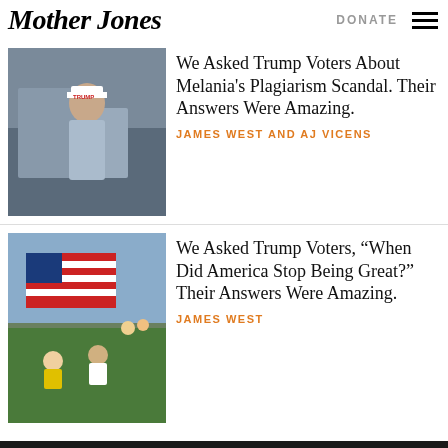Mother Jones | DONATE
[Figure (photo): Man wearing Trump hat on city street]
We Asked Trump Voters About Melania's Plagiarism Scandal. Their Answers Were Amazing.
JAMES WEST AND AJ VICENS
[Figure (photo): People sitting on grass with American flag in background]
We Asked Trump Voters, “When Did America Stop Being Great?” Their Answers Were Amazing.
JAMES WEST
WE RECOMMEND
[Figure (photo): Person in blue medical scrubs]
How Close to Death Does a